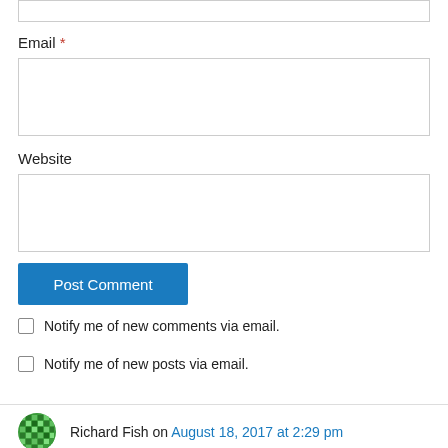Email *
[Figure (other): Empty email text input field]
Website
[Figure (other): Empty website text input field]
Post Comment
Notify me of new comments via email.
Notify me of new posts via email.
Richard Fish on August 18, 2017 at 2:29 pm